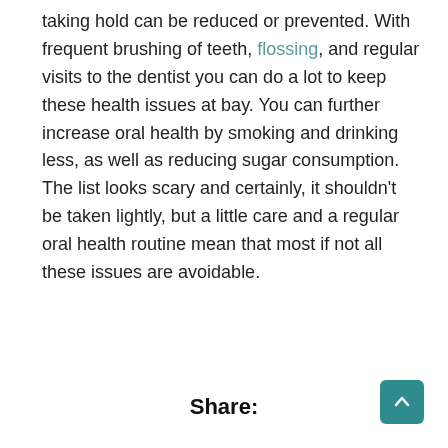taking hold can be reduced or prevented. With frequent brushing of teeth, flossing, and regular visits to the dentist you can do a lot to keep these health issues at bay. You can further increase oral health by smoking and drinking less, as well as reducing sugar consumption. The list looks scary and certainly, it shouldn't be taken lightly, but a little care and a regular oral health routine mean that most if not all these issues are avoidable.
Share: